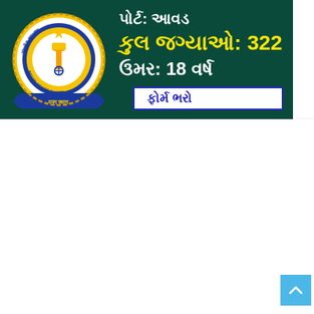[Figure (logo): Indian Coast Guard emblem/logo — circular seal with Ashoka Pillar in center, blue and gold border with text in Devanagari, blue ribbon at bottom with text 'वयम् रक्षाम:']
પોર્ટ: આવડ
કુલ જગ્યાઓ: 322
ઉમર: 18 વર્ષ
ફોર્મ ભરો